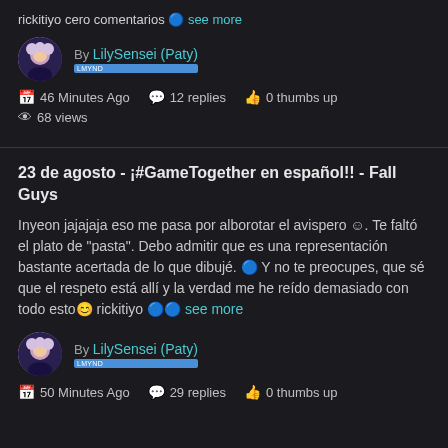rickitiyo cero comentarios 🔵 see more
By LilySensei (Paty)
46 Minutes Ago   12 replies   0 thumbs up   68 views
23 de agosto - ¡#GameTogether en español!! - Fall Guys
Inyeon jajajaja eso me pasa por alborotar el avispero 😞. Te faltó el plato de "pasta". Debo admitir que es una representación bastante acertada de lo que dibujé. 🔵 Y no te preocupes, que sé que el respeto está allí y la verdad me he reído demasiado con todo esto😊 rickitiyo 🔵🔵 see more
By LilySensei (Paty)
50 Minutes Ago   29 replies   0 thumbs up